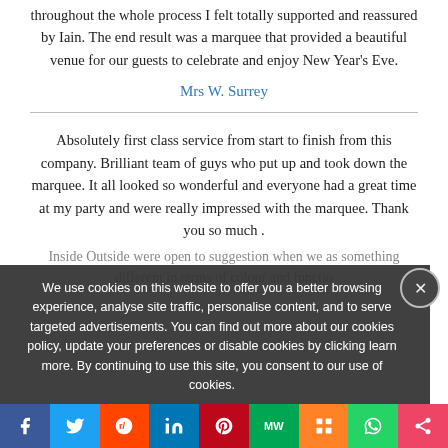throughout the whole process I felt totally supported and reassured by Iain. The end result was a marquee that provided a beautiful venue for our guests to celebrate and enjoy New Year's Eve.
Mrs W. Surrey
Absolutely first class service from start to finish from this company. Brilliant team of guys who put up and took down the marquee. It all looked so wonderful and everyone had a great time at my party and were really impressed with the marquee. Thank you so much .
We use cookies on this website to offer you a better browsing experience, analyse site traffic, personalise content, and to serve targeted advertisements. You can find out more about our cookies policy, update your preferences or disable cookies by clicking learn more. By continuing to use this site, you consent to our use of cookies.
Inside Outside were open to suggestion when we as something different in terms of colour and functio